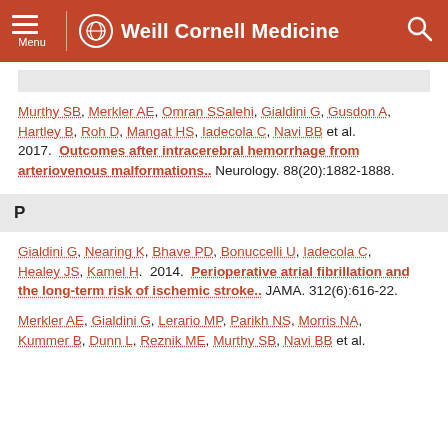Menu | Weill Cornell Medicine
Murthy SB, Merkler AE, Omran SSalehi, Gialdini G, Gusdon A, Hartley B, Roh D, Mangat HS, Iadecola C, Navi BB et al. 2017. Outcomes after intracerebral hemorrhage from arteriovenous malformations.. Neurology. 88(20):1882-1888.
P
Gialdini G, Nearing K, Bhave PD, Bonuccelli U, Iadecola C, Healey JS, Kamel H. 2014. Perioperative atrial fibrillation and the long-term risk of ischemic stroke.. JAMA. 312(6):616-22.
Merkler AE, Gialdini G, Lerario MP, Parikh NS, Morris NA, Kummer B, Dunn L, Reznik ME, Murthy SB, Navi BB et al.